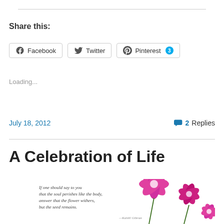Share this:
Facebook
Twitter
Pinterest 3
Loading...
July 18, 2012   2 Replies
A Celebration of Life
[Figure (photo): Inspirational quote card with pink cosmos flowers. Quote reads: If one should say to you that the soul perishes like the body, answer that the flower withers, but the seed remains. — Kahlil Gibran]